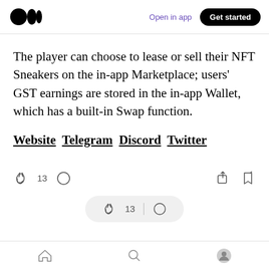Medium app header with logo, Open in app, Get started
The player can choose to lease or sell their NFT Sneakers on the in-app Marketplace; users' GST earnings are stored in the in-app Wallet, which has a built-in Swap function.
Website  Telegram  Discord  Twitter
[Figure (screenshot): Article action bar with clap icon (13 claps), comment icon, share icon, and bookmark icon]
[Figure (screenshot): Floating action bar with clap icon (13 claps), divider, and comment icon]
Bottom navigation bar with home, search, and profile icons